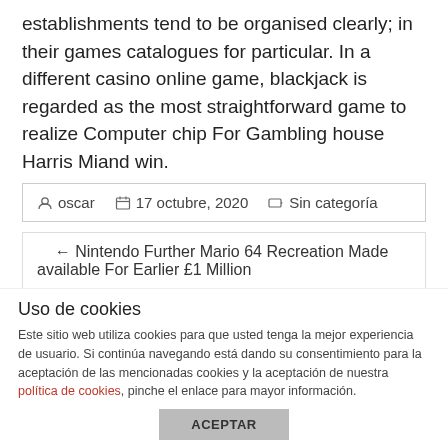establishments tend to be organised clearly; in their games catalogues for particular. In a different casino online game, blackjack is regarded as the most straightforward game to realize Computer chip For Gambling house Harris Miand win.
oscar  17 octubre, 2020  Sin categoría
← Nintendo Further Mario 64 Recreation Made available For Earlier £1 Million
Will This spouse and i also Conduct This Wagering house hold Performance games Just for Cost-free? →
Uso de cookies
Este sitio web utiliza cookies para que usted tenga la mejor experiencia de usuario. Si continúa navegando está dando su consentimiento para la aceptación de las mencionadas cookies y la aceptación de nuestra política de cookies, pinche el enlace para mayor información.
ACEPTAR